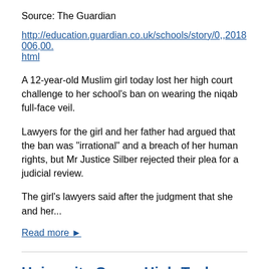Source: The Guardian
http://education.guardian.co.uk/schools/story/0,,2018006,00.html
A 12-year-old Muslim girl today lost her high court challenge to her school's ban on wearing the niqab full-face veil.
Lawyers for the girl and her father had argued that the ban was "irrational" and a breach of her human rights, but Mr Justice Silber rejected their plea for a judicial review.
The girl's lawyers said after the judgment that she and her...
Read more ▶
University Opens High-Tech Mosque